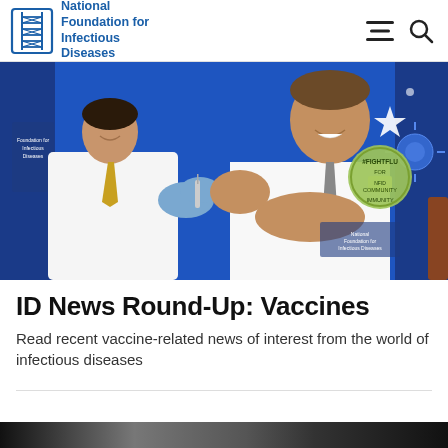National Foundation for Infectious Diseases
[Figure (photo): A doctor in a white lab coat and blue gloves administering a vaccine injection to a man in a white shirt and tie who is smiling. A green circular badge reading '#FIGHTFLU FOR COMMUNITY IMMUNITY' is visible on the man's chest. A blue backdrop with the NFID logo is in the background.]
ID News Round-Up: Vaccines
Read recent vaccine-related news of interest from the world of infectious diseases